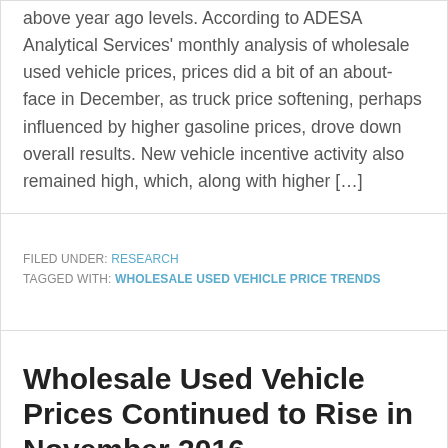above year ago levels. According to ADESA Analytical Services' monthly analysis of wholesale used vehicle prices, prices did a bit of an about-face in December, as truck price softening, perhaps influenced by higher gasoline prices, drove down overall results. New vehicle incentive activity also remained high, which, along with higher […]
FILED UNDER: RESEARCH  TAGGED WITH: WHOLESALE USED VEHICLE PRICE TRENDS
Wholesale Used Vehicle Prices Continued to Rise in November 2016